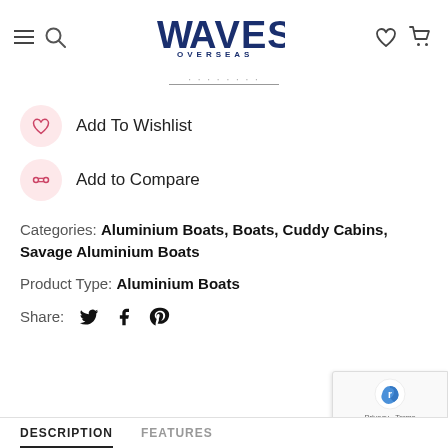Waves Overseas
Add To Wishlist
Add to Compare
Categories: Aluminium Boats, Boats, Cuddy Cabins, Savage Aluminium Boats
Product Type: Aluminium Boats
Share:
DESCRIPTION   FEATURES